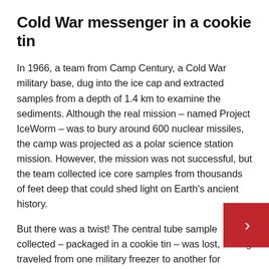Cold War messenger in a cookie tin
In 1966, a team from Camp Century, a Cold War military base, dug into the ice cap and extracted samples from a depth of 1.4 km to examine the sediments. Although the real mission – named Project IceWorm – was to bury around 600 nuclear missiles, the camp was projected as a polar science station mission. However, the mission was not successful, but the team collected ice core samples from thousands of feet deep that could shed light on Earth's ancient history.
But there was a twist! The central tube sample collected – packaged in a cookie tin – was lost, having traveled from one military freezer to another for decades. The sample was rediscovered in 2017 and landed in the hands of scientists at the